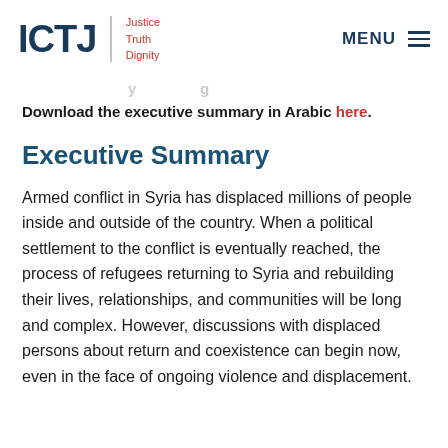ICTJ | Justice Truth Dignity    MENU ≡
Download the executive summary in Arabic here.
Executive Summary
Armed conflict in Syria has displaced millions of people inside and outside of the country. When a political settlement to the conflict is eventually reached, the process of refugees returning to Syria and rebuilding their lives, relationships, and communities will be long and complex. However, discussions with displaced persons about return and coexistence can begin now, even in the face of ongoing violence and displacement.